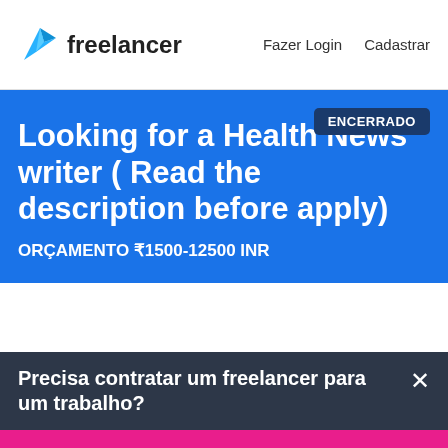[Figure (logo): Freelancer logo with blue origami bird icon and 'freelancer' text]
Fazer Login   Cadastrar
Looking for a Health News writer ( Read the description before apply)
ORÇAMENTO ₹1500-12500 INR
ENCERRADO
Precisa contratar um freelancer para um trabalho?
Publicar um Projeto